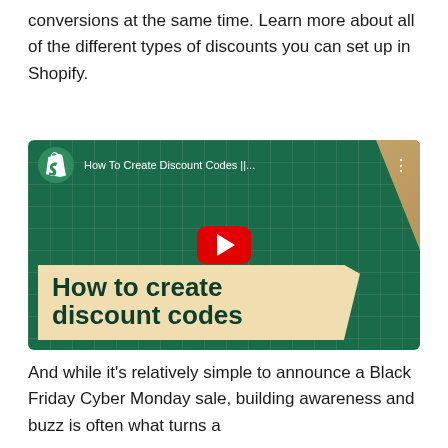conversions at the same time. Learn more about all of the different types of discounts you can set up in Shopify.
[Figure (screenshot): YouTube video thumbnail showing Shopify's 'How To Create Discount Codes' video with Shopify logo, video title bar, red play button, and bold text overlay reading 'How to create discount codes' on a dark green background with a tan/beige accent panel]
And while it's relatively simple to announce a Black Friday Cyber Monday sale, building awareness and buzz is often what turns a